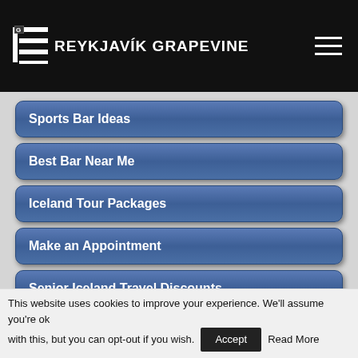THE REYKJAVÍK GRAPEVINE
Sports Bar Ideas
Best Bar Near Me
Iceland Tour Packages
Make an Appointment
Senior Iceland Travel Discounts
[Figure (photo): Partial image at bottom of page showing gray and red sections with mountain/logo graphic]
This website uses cookies to improve your experience. We'll assume you're ok with this, but you can opt-out if you wish. Accept Read More